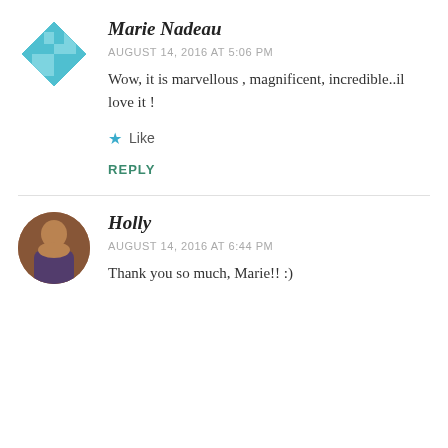Marie Nadeau
AUGUST 14, 2016 AT 5:06 PM
Wow, it is marvellous , magnificent, incredible..il love it !
Like
REPLY
Holly
AUGUST 14, 2016 AT 6:44 PM
Thank you so much, Marie!! :)